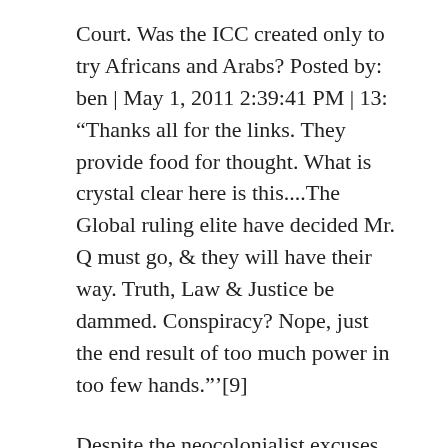Court. Was the ICC created only to try Africans and Arabs? Posted by: ben | May 1, 2011 2:39:41 PM | 13: “Thanks all for the links. They provide food for thought. What is crystal clear here is this....The Global ruling elite have decided Mr. Q must go, & they will have their way. Truth, Law & Justice be dammed. Conspiracy? Nope, just the end result of too much power in too few hands.”’[9]
Despite the neocolonialist excuses of humanitarian motives, the real motivations for the assassination keep popping up: Wikileaks: Al-Qadhafi perceives himself as “a superman of history” and is not able to admit fault or weakness. Cosmetic attempts at